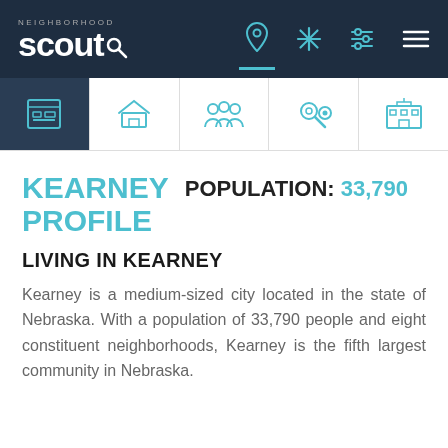Neighborhood Scout
KEARNEY PROFILE  POPULATION: 33,790
LIVING IN KEARNEY
Kearney is a medium-sized city located in the state of Nebraska. With a population of 33,790 people and eight constituent neighborhoods, Kearney is the fifth largest community in Nebraska.